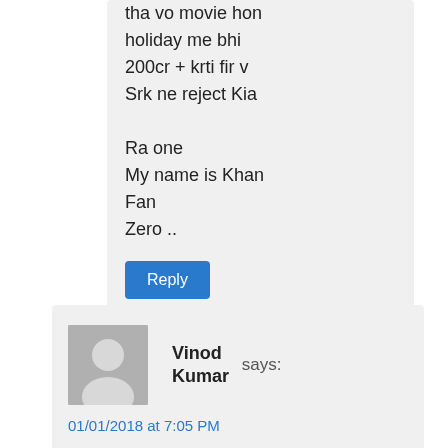tha vo movie hon holiday me bhi 200cr + krti fir v Srk ne reject Kia

Ra one
My name is Khan
Fan
Zero ..
Reply
Vinod Kumar says:
01/01/2018 at 7:05 PM